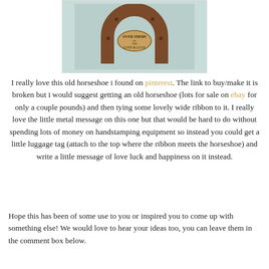[Figure (photo): Photo of an old rusty horseshoe with a metal oval tag inscribed with 'OVER THERE' and 'LOVE & LUCK', mounted on a light teal/blue surface]
I really love this old horseshoe i found on pinterest. The link to buy/make it is broken but i would suggest getting an old horseshoe (lots for sale on ebay for only a couple pounds) and then tying some lovely wide ribbon to it. I really love the little metal message on this one but that would be hard to do without spending lots of money on handstamping equipment so instead you could get a little luggage tag (attach to the top where the ribbon meets the horseshoe) and write a little message of love luck and happiness on it instead.
Hope this has been of some use to you or inspired you to come up with something else! We would love to hear your ideas too, you can leave them in the comment box below.